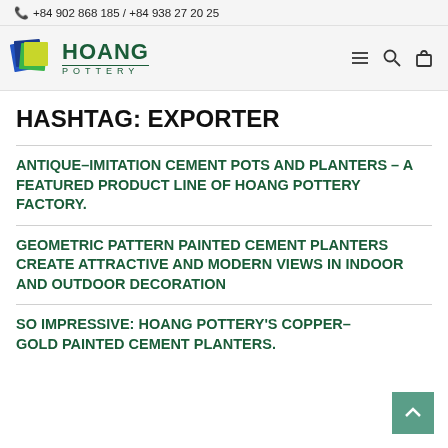📞 +84 902 868 185 / +84 938 27 20 25
[Figure (logo): Hoang Pottery logo with colorful overlapping square shapes and green text reading HOANG POTTERY]
HASHTAG: EXPORTER
ANTIQUE–IMITATION CEMENT POTS AND PLANTERS – A FEATURED PRODUCT LINE OF HOANG POTTERY FACTORY.
GEOMETRIC PATTERN PAINTED CEMENT PLANTERS CREATE ATTRACTIVE AND MODERN VIEWS IN INDOOR AND OUTDOOR DECORATION
SO IMPRESSIVE: HOANG POTTERY'S COPPER–GOLD PAINTED CEMENT PLANTERS.